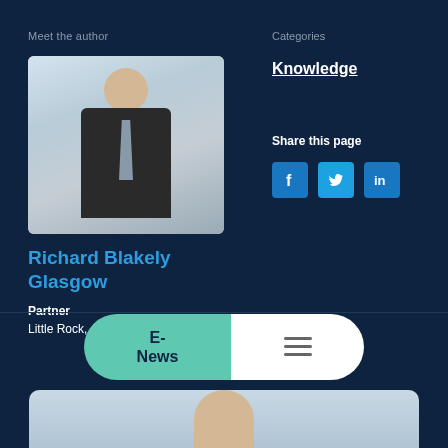Meet the author
[Figure (photo): Professional headshot of Richard Blakely Glasgow, a man in a dark suit with a striped tie, photographed against a light background]
Richard Blakely Glasgow
Partner
Little Rock, AR
Categories
Knowledge
Share this page
[Figure (infographic): Social media sharing icons: Facebook (f), Twitter (bird), LinkedIn (in)]
E-News
Hamburger menu icon
[Figure (photo): Partial view of a person's head at the bottom of the page, suggesting a profile photo below the fold]